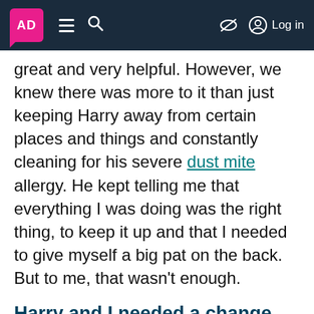AD [logo] | menu | search | [nosign] | Log in
great and very helpful. However, we knew there was more to it than just keeping Harry away from certain places and things and constantly cleaning for his severe dust mite allergy. He kept telling me that everything I was doing was the right thing, to keep it up and that I needed to give myself a big pat on the back. But to me, that wasn't enough.
Harry and I needed a change
Something needs to change. We can't keep on house isolating him, applying creams every two hours, giving him so many